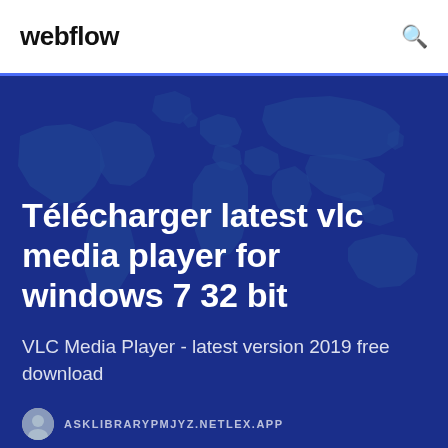webflow
[Figure (illustration): Hero banner with world map illustration on dark blue background showing article title and subtitle for a software download page]
Télécharger latest vlc media player for windows 7 32 bit
VLC Media Player - latest version 2019 free download
ASKLIBRARYPMJYZ.NETLEX.APP